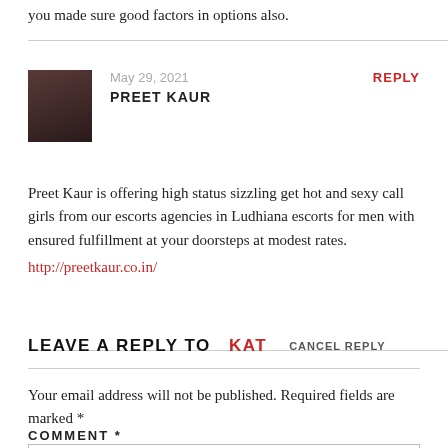you made sure good factors in options also.
May 29, 2021
PREET KAUR
REPLY
Preet Kaur is offering high status sizzling get hot and sexy call girls from our escorts agencies in Ludhiana escorts for men with ensured fulfillment at your doorsteps at modest rates.
http://preetkaur.co.in/
LEAVE A REPLY TO KAT   CANCEL REPLY
Your email address will not be published. Required fields are marked *
COMMENT *